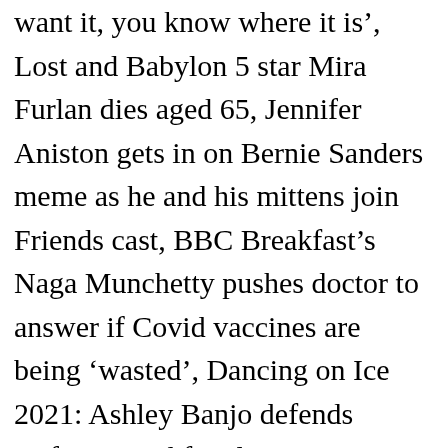want it, you know where it is', Lost and Babylon 5 star Mira Furlan dies aged 65, Jennifer Aniston gets in on Bernie Sanders meme as he and his mittens join Friends cast, BBC Breakfast's Naga Munchetty pushes doctor to answer if Covid vaccines are being 'wasted', Dancing on Ice 2021: Ashley Banjo defends Rufus Hound for slating government amid Ofcom complaints, The Big Bang Theory's Mayim Bialik reveals why she auditioned for Amy Farrah Fowler role, confirming that another film would be appearing, D Double E voicing Ikea's Christmas advert